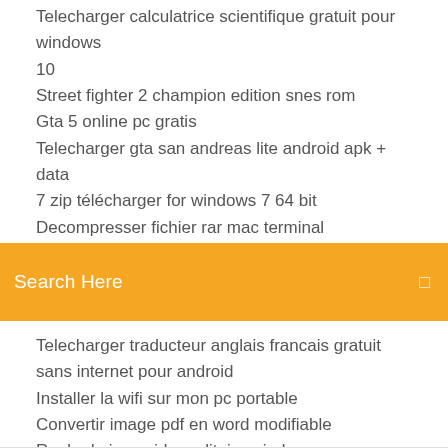Telecharger calculatrice scientifique gratuit pour windows 10
Street fighter 2 champion edition snes rom
Gta 5 online pc gratis
Telecharger gta san andreas lite android apk + data
7 zip télécharger for windows 7 64 bit
Decompresser fichier rar mac terminal
Search Here
Telecharger traducteur anglais francais gratuit sans internet pour android
Installer la wifi sur mon pc portable
Convertir image pdf en word modifiable
Regle du jeu spider solitaire windows
Meilleur logiciel de montage iso
Samsung usb drivers for mobile phones (x86 & x64) v1.5.29.0